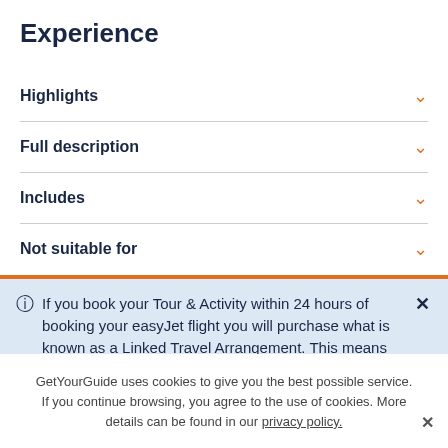Experience
Highlights
Full description
Includes
Not suitable for
If you book your Tour & Activity within 24 hours of booking your easyJet flight you will purchase what is known as a Linked Travel Arrangement. This means
GetYourGuide uses cookies to give you the best possible service. If you continue browsing, you agree to the use of cookies. More details can be found in our privacy policy.